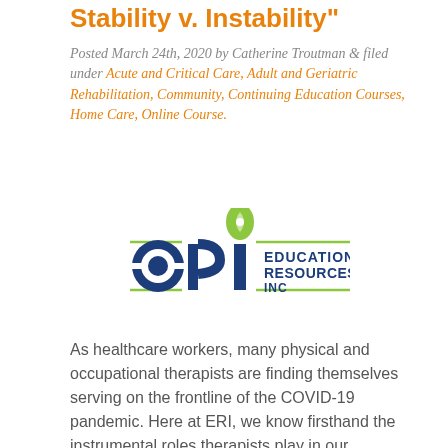Stability v. Instability"
Posted March 24th, 2020 by Catherine Troutman & filed under Acute and Critical Care, Adult and Geriatric Rehabilitation, Community, Continuing Education Courses, Home Care, Online Course.
[Figure (logo): ERI Education Resources Inc logo — dark blue 'eri' letters with green leaf/DNA icon above the 'i', with 'EDUCATION RESOURCES INC' text in dark blue and green horizontal lines]
As healthcare workers, many physical and occupational therapists are finding themselves serving on the frontline of the COVID-19 pandemic. Here at ERI, we know firsthand the instrumental roles therapists play in our healthcare system and are dedicated to supporting them with the...